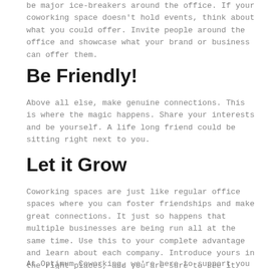be major ice-breakers around the office. If your coworking space doesn't hold events, think about what you could offer. Invite people around the office and showcase what your brand or business can offer them.
Be Friendly!
Above all else, make genuine connections. This is where the magic happens. Share your interests and be yourself. A life long friend could be sitting right next to you.
Let it Grow
Coworking spaces are just like regular office spaces where you can foster friendships and make great connections. It just so happens that multiple businesses are being run all at the same time. Use this to your complete advantage and learn about each company. Introduce yours in the right places, and you are sure to see it grow.
At Optimum Coworking, we're here to support you in your